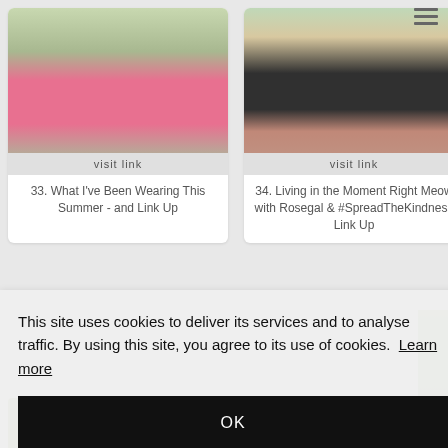[Figure (photo): Fashion blog card showing person in pink skirt outdoors with garden background, 'visit link' label]
33. What I've Been Wearing This Summer - and Link Up
[Figure (photo): Fashion blog card showing person in black skirt and red shoes on brick path, 'visit link' label]
34. Living in the Moment Right Meow with Rosegal & #SpreadTheKindness Link Up
This site uses cookies to deliver its services and to analyse traffic. By using this site, you agree to its use of cookies. Learn more
[Figure (photo): Partial fashion photo at bottom left, yellow-green tones]
[Figure (photo): Partial fashion photo at bottom right, grey tones]